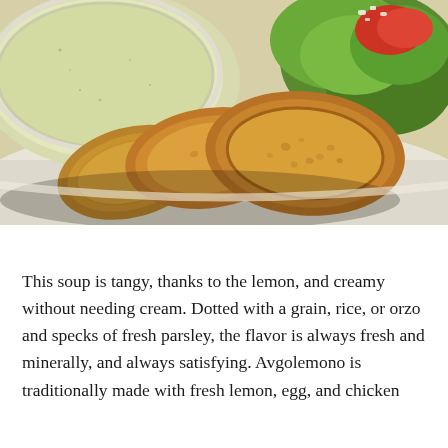[Figure (photo): Close-up photo of toasted bread slices on a white plate, with a bowl of creamy soup (avgolemono) and a green salad with tomatoes and white cheese in the background.]
This soup is tangy, thanks to the lemon, and creamy without needing cream. Dotted with a grain, rice, or orzo and specks of fresh parsley, the flavor is always fresh and minerally, and always satisfying. Avgolemono is traditionally made with fresh lemon, egg, and chicken